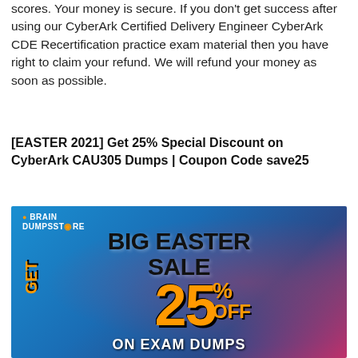scores. Your money is secure. If you don't get success after using our CyberArk Certified Delivery Engineer CyberArk CDE Recertification practice exam material then you have right to claim your refund. We will refund your money as soon as possible.
[EASTER 2021] Get 25% Special Discount on CyberArk CAU305 Dumps | Coupon Code save25
[Figure (infographic): BrandDumpsStore Big Easter Sale advertisement banner. Blue gradient background with technology icons. Text reads: BRAIN DUMPSSTORE, BIG EASTER SALE, GET 25% OFF ON EXAM DUMPS in black and orange colors.]